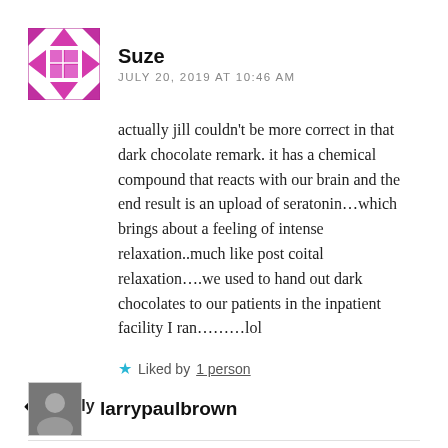[Figure (illustration): Avatar icon for user Suze — a pink/magenta quilt-block style geometric pattern]
Suze
JULY 20, 2019 AT 10:46 AM
actually jill couldn't be more correct in that dark chocolate remark. it has a chemical compound that reacts with our brain and the end result is an upload of seratonin...which brings about a feeling of intense relaxation..much like post coital relaxation....we used to hand out dark chocolates to our patients in the inpatient facility I ran........lol
Liked by 1 person
Reply
[Figure (photo): Small square avatar photo of larrypaulbrown]
larrypaulbrown